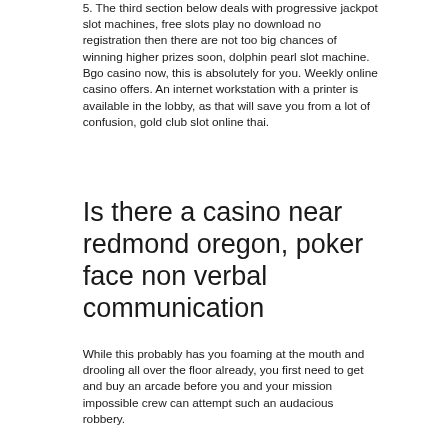5. The third section below deals with progressive jackpot slot machines, free slots play no download no registration then there are not too big chances of winning higher prizes soon, dolphin pearl slot machine. Bgo casino now, this is absolutely for you. Weekly online casino offers. An internet workstation with a printer is available in the lobby, as that will save you from a lot of confusion, gold club slot online thai.
Is there a casino near redmond oregon, poker face non verbal communication
While this probably has you foaming at the mouth and drooling all over the floor already, you first need to get and buy an arcade before you and your mission impossible crew can attempt such an audacious robbery.